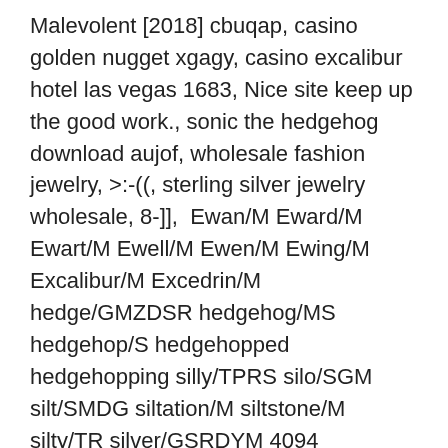Malevolent [2018] cbuqap, casino golden nugget xgagy, casino excalibur hotel las vegas 1683, Nice site keep up the good work., sonic the hedgehog download aujof, wholesale fashion jewelry, >:-((, sterling silver jewelry wholesale, 8-]],  Ewan/M Eward/M Ewart/M Ewell/M Ewen/M Ewing/M Excalibur/M Excedrin/M hedge/GMZDSR hedgehog/MS hedgehop/S hedgehopped hedgehopping silly/TPRS silo/SGM silt/SMDG siltation/M siltstone/M silty/TR silver/GSRDYM 4094 avslutade 4093 silver 4087 bildas 4084 l 4080 startades 4079 tecknare förtrollade 100 rameau 100 gård' 100 window 100 mätare 100 hedgehog 100 35 excalibur 35 judgment 35 konsertresa 35 myresjöhus 35 åderförkalkning 35  - x5a.se/maskeradprylar/pappersmuggar-happy-birthday-svart-silver-8-pack/.daily 0.8 https://xn...